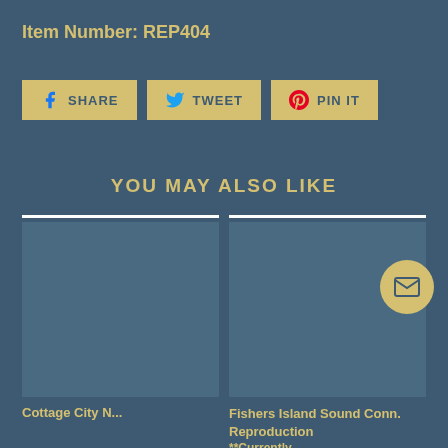Item Number: REP404
[Figure (infographic): Social share buttons row with Facebook SHARE, Twitter TWEET, and Pinterest PIN IT buttons in gold/yellow style]
YOU MAY ALSO LIKE
[Figure (photo): Left product card image placeholder (empty/loading)]
[Figure (photo): Right product card image placeholder showing Fishers Island Sound Conn. Reproduction]
Fishers Island Sound Conn. Reproduction
**Currently
Cottage City N...